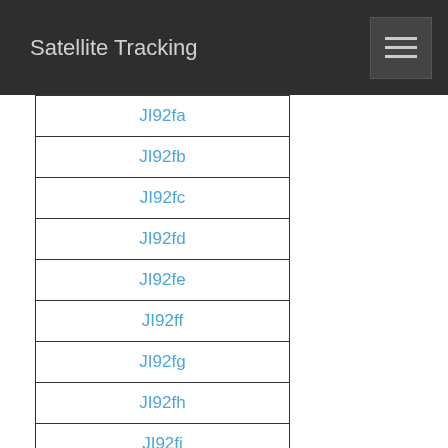Satellite Tracking
JI92fa
JI92fb
JI92fc
JI92fd
JI92fe
JI92ff
JI92fg
JI92fh
JI92fi
JI92fj
JI92fk
JI92fl
JI92fm
JI92fn
JI92fo
JI92fp
JI92fq
JI92f…